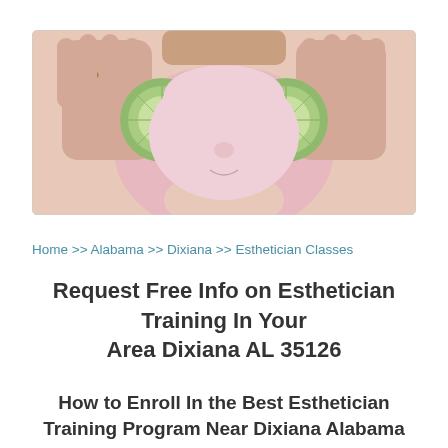[Figure (photo): A person with a pink clay face mask holding two cucumber slices over their eyes, hands visible with a ring on one finger. Wide banner format.]
Home >> Alabama >> Dixiana >> Esthetician Classes
Request Free Info on Esthetician Training In Your Area Dixiana AL 35126
How to Enroll In the Best Esthetician Training Program Near Dixiana Alabama